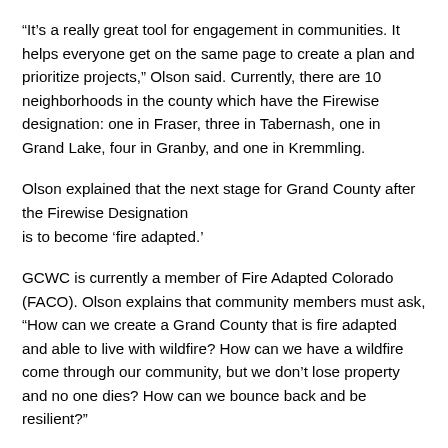“It’s a really great tool for engagement in communities. It helps everyone get on the same page to create a plan and prioritize projects,” Olson said. Currently, there are 10 neighborhoods in the county which have the Firewise designation: one in Fraser, three in Tabernash, one in Grand Lake, four in Granby, and one in Kremmling.
Olson explained that the next stage for Grand County after the Firewise Designation is to become ‘fire adapted.’
GCWC is currently a member of Fire Adapted Colorado (FACO). Olson explains that community members must ask, “How can we create a Grand County that is fire adapted and able to live with wildfire? How can we have a wildfire come through our community, but we don’t lose property and no one dies? How can we bounce back and be resilient?”